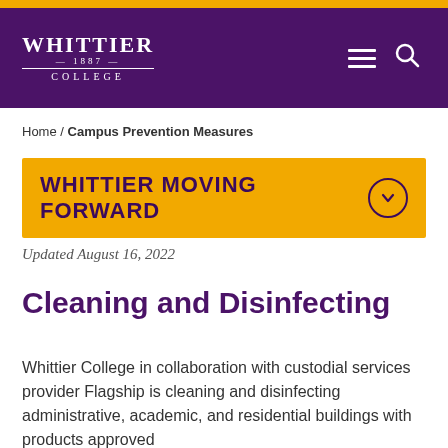Whittier College 1887
Home / Campus Prevention Measures
WHITTIER MOVING FORWARD
Updated August 16, 2022
Cleaning and Disinfecting
Whittier College in collaboration with custodial services provider Flagship is cleaning and disinfecting administrative, academic, and residential buildings with products approved